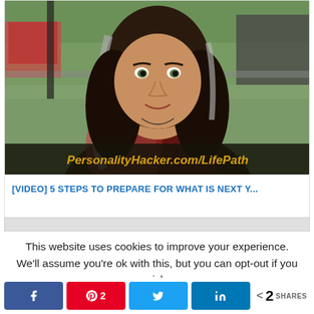[Figure (photo): Thumbnail image of a woman with long dark and gray hair, wearing a floral top, smiling slightly. Background shows an outdoor deck area with trees. An overlay bar at the bottom reads PersonalityHacker.com/LifePath in yellow italic text.]
[VIDEO] 5 STEPS TO PREPARE FOR WHAT IS NEXT Y...
[Figure (screenshot): Partial view of a second card/article below, showing a gray header bar.]
This website uses cookies to improve your experience. We'll assume you're ok with this, but you can opt-out if you wish.
< 2 SHARES (share buttons: Facebook, Pinterest 2, Twitter, LinkedIn)